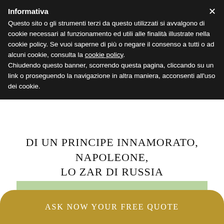Informativa
Questo sito o gli strumenti terzi da questo utilizzati si avvalgono di cookie necessari al funzionamento ed utili alle finalità illustrate nella cookie policy. Se vuoi saperne di più o negare il consenso a tutti o ad alcuni cookie, consulta la cookie policy. Chiudendo questo banner, scorrendo questa pagina, cliccando su un link o proseguendo la navigazione in altra maniera, acconsenti all'uso dei cookie.
DI UN PRINCIPE INNAMORATO, NAPOLEONE, LO ZAR DI RUSSIA
[Figure (photo): Aerial landscape photo showing green rolling hills and trees in the Italian countryside]
ASK NOW YOUR FREE QUOTE